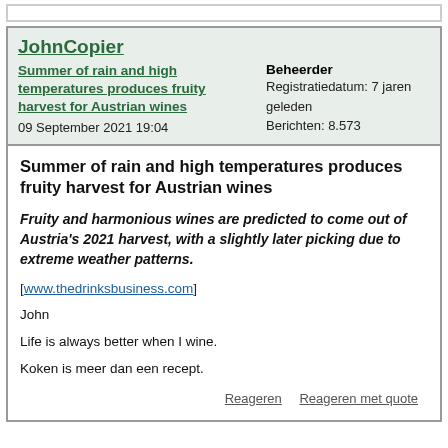JohnCopier
Summer of rain and high temperatures produces fruity harvest for Austrian wines
09 September 2021 19:04
Beheerder
Registratiedatum: 7 jaren geleden
Berichten: 8.573
Summer of rain and high temperatures produces fruity harvest for Austrian wines
Fruity and harmonious wines are predicted to come out of Austria's 2021 harvest, with a slightly later picking due to extreme weather patterns.
[www.thedrinksbusiness.com]
John
Life is always better when I wine.
Koken is meer dan een recept.
Reageren    Reageren met quote